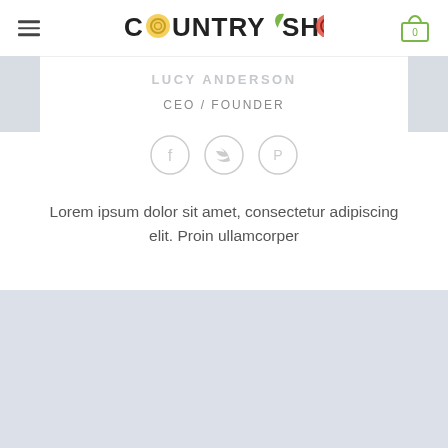[Figure (logo): Country Shop logo with stylized text and icons]
LUCY ANDERSON
CEO / FOUNDER
[Figure (infographic): Three circular social media icons: Facebook, Twitter, Pinterest]
Lorem ipsum dolor sit amet, consectetur adipiscing elit. Proin ullamcorper
[Figure (photo): Large light blue-gray placeholder image block at the bottom of the page]